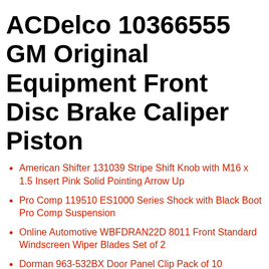ACDelco 10366555 GM Original Equipment Front Disc Brake Caliper Piston
American Shifter 131039 Stripe Shift Knob with M16 x 1.5 Insert Pink Solid Pointing Arrow Up
Pro Comp 119510 ES1000 Series Shock with Black Boot Pro Comp Suspension
Online Automotive WBFDRAN22D 8011 Front Standard Windscreen Wiper Blades Set of 2
Dorman 963-532BX Door Panel Clip Pack of 10